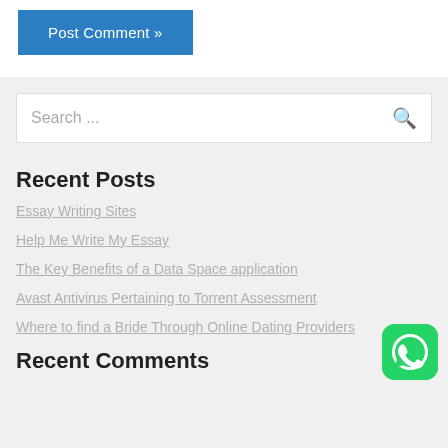Post Comment »
[Figure (screenshot): Search bar with placeholder text 'Search ...' and a search icon on the right]
Recent Posts
Essay Writing Sites
Help Me Write My Essay
The Key Benefits of a Data Space application
Avast Antivirus Pertaining to Torrent Assessment
Where to find a Bride Through Online Dating Providers
Recent Comments
[Figure (logo): WhatsApp icon button in green rounded square at bottom right corner]